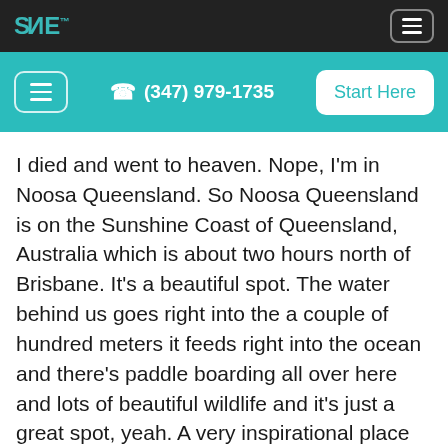SANE logo and navigation menu
(347) 979-1735  Start Here
I died and went to heaven. Nope, I'm in Noosa Queensland. So Noosa Queensland is on the Sunshine Coast of Queensland, Australia which is about two hours north of Brisbane. It's a beautiful spot. The water behind us goes right into the a couple of hundred meters it feeds right into the ocean and there's paddle boarding all over here and lots of beautiful wildlife and it's just a great spot, yeah. A very inspirational place to be.
Jonathan Bailor: Well, Jon, I love that you brought up the word inspiration because I know that you have